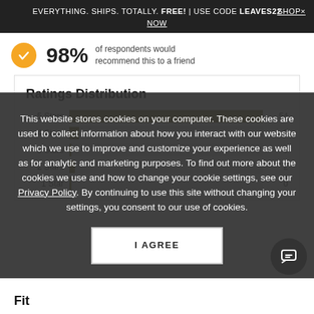EVERYTHING. SHIPS. TOTALLY. FREE! | USE CODE LEAVES22   SHOP× NOW
98% of respondents would recommend this to a friend
[Figure (bar-chart): Ratings Distribution]
This website stores cookies on your computer. These cookies are used to collect information about how you interact with our website which we use to improve and customize your experience as well as for analytic and marketing purposes. To find out more about the cookies we use and how to change your cookie settings, see our Privacy Policy. By continuing to use this site without changing your settings, you consent to our use of cookies.
I AGREE
Fit